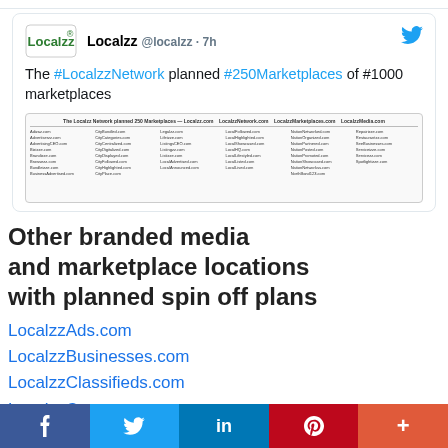[Figure (screenshot): Tweet from @localzz 7h ago: 'The #LocalzzNetwork planned #250Marketplaces of #1000 marketplaces' with an embedded image showing a list of marketplace URLs]
Other branded media and marketplace locations with planned spin off plans
LocalzzAds.com
LocalzzBusinesses.com
LocalzzClassifieds.com
LocalzzCoupons.com
LocalzzDirectory.com
f  Twitter bird  in  P  +